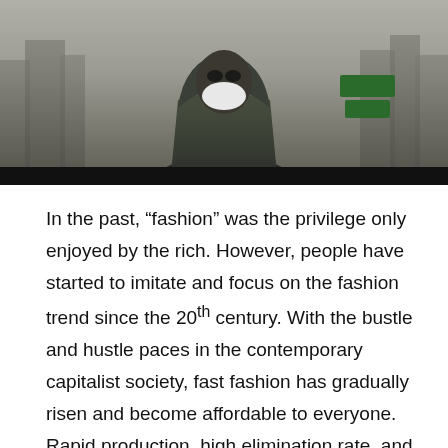[Figure (photo): A person wearing a hooded jacket and white face mask standing in front of a hazy city skyline with tall buildings visible in the background.]
In the past, "fashion" was the privilege only enjoyed by the rich. However, people have started to imitate and focus on the fashion trend since the 20th century. With the bustle and hustle paces in the contemporary capitalist society, fast fashion has gradually risen and become affordable to everyone. Rapid production, high elimination rate, and low prices are the main characteristics of "fast fashion." It is such a good turn that fashion is no longer the privilege for the rich. Thus, shoppers can snap the clothes up while they are in high popularity. As time passes, the idea of outfit repeating is a fashion faux pas has been played into people's minds. If